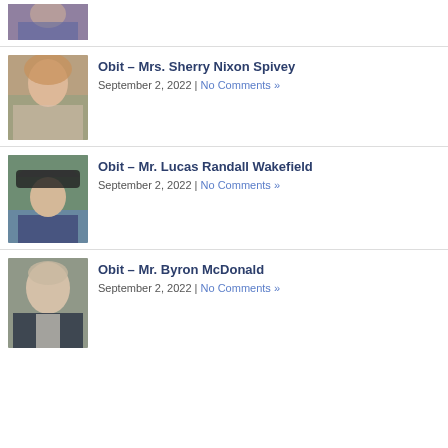[Figure (photo): Partial photo of a person, cropped at top of page]
Obit – Mrs. Sherry Nixon Spivey
September 2, 2022 | No Comments »
[Figure (photo): Photo of Mrs. Sherry Nixon Spivey, a woman with long brown hair smiling outdoors]
Obit – Mr. Lucas Randall Wakefield
September 2, 2022 | No Comments »
[Figure (photo): Photo of Mr. Lucas Randall Wakefield in graduation cap and gown]
Obit – Mr. Byron McDonald
September 2, 2022 | No Comments »
[Figure (photo): Photo of Mr. Byron McDonald, an older man in a suit with glasses]